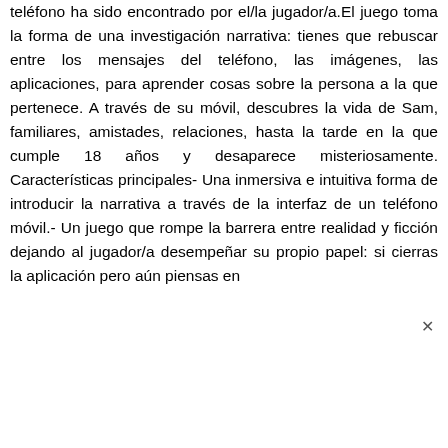teléfono ha sido encontrado por el/la jugador/a.El juego toma la forma de una investigación narrativa: tienes que rebuscar entre los mensajes del teléfono, las imágenes, las aplicaciones, para aprender cosas sobre la persona a la que pertenece. A través de su móvil, descubres la vida de Sam, familiares, amistades, relaciones, hasta la tarde en la que cumple 18 años y desaparece misteriosamente. Características principales- Una inmersiva e intuitiva forma de introducir la narrativa a través de la interfaz de un teléfono móvil.- Un juego que rompe la barrera entre realidad y ficción dejando al jugador/a desempeñar su propio papel: si cierras la aplicación pero aún piensas en [continúa...]